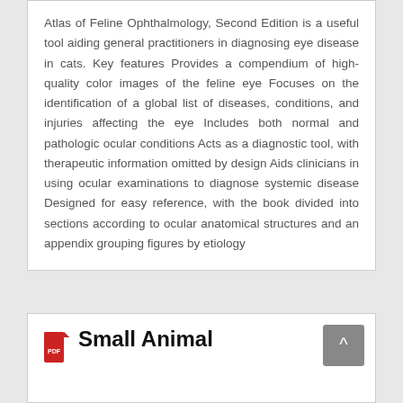Atlas of Feline Ophthalmology, Second Edition is a useful tool aiding general practitioners in diagnosing eye disease in cats. Key features Provides a compendium of high-quality color images of the feline eye Focuses on the identification of a global list of diseases, conditions, and injuries affecting the eye Includes both normal and pathologic ocular conditions Acts as a diagnostic tool, with therapeutic information omitted by design Aids clinicians in using ocular examinations to diagnose systemic disease Designed for easy reference, with the book divided into sections according to ocular anatomical structures and an appendix grouping figures by etiology
Small Animal